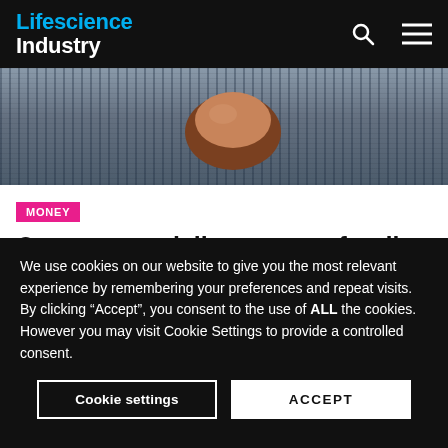Lifescience Industry
[Figure (photo): Cropped photo of a person in jeans holding or wearing a brown handbag/purse]
MONEY
Ostomy specialist secures funding from US healthcare financier
Jul 16, 2021
We use cookies on our website to give you the most relevant experience by remembering your preferences and repeat visits. By clicking “Accept”, you consent to the use of ALL the cookies. However you may visit Cookie Settings to provide a controlled consent.
Cookie settings | ACCEPT